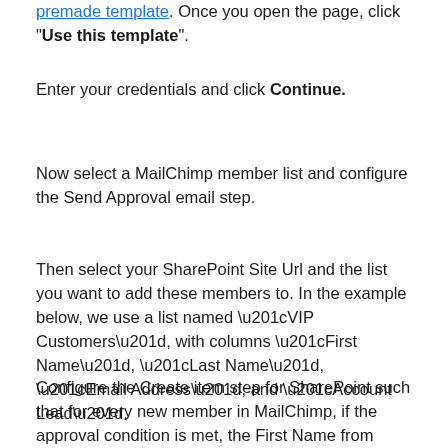premade template. Once you open the page, click "Use this template".
Enter your credentials and click Continue.
Now select a MailChimp member list and configure the Send Approval email step.
Then select your SharePoint Site Url and the list you want to add these members to. In the example below, we use a list named “VIP Customers”, with columns “First Name”, “Last Name”, “Email Address”, and “Account Lead”.
Configure the Create item step for SharePoint such that for every new member in MailChimp, if the approval condition is met, the First Name from MailChimp maps to the First Name